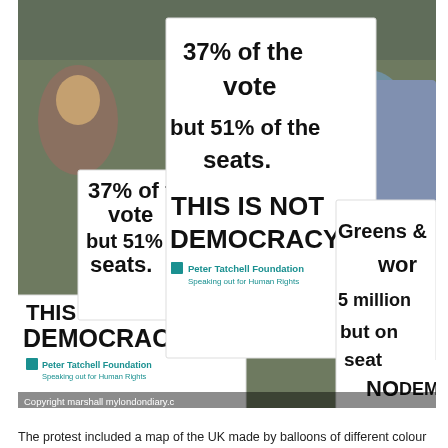[Figure (photo): Protesters at a political demonstration holding signs reading '37% of the vote but 51% of the seats. THIS IS NOT DEMOCRACY' with Peter Tatchell Foundation branding. Multiple people hold identical signs; a young girl is visible in the center. Signs also show 'Greens & won 5 million but on seat NO DEM...' partially visible on right. Copyright watermark: 'Copyright ... marshall mylondondiary.c']
The protest included a map of the UK made by balloons of different colour